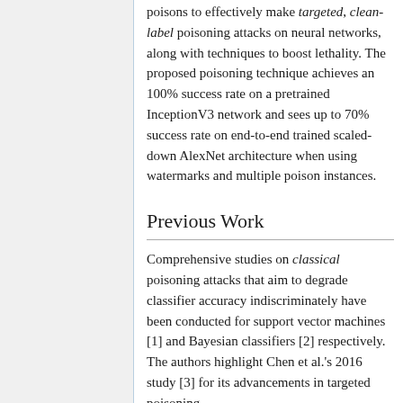poisons to effectively make targeted, clean-label poisoning attacks on neural networks, along with techniques to boost lethality. The proposed poisoning technique achieves an 100% success rate on a pretrained InceptionV3 network and sees up to 70% success rate on end-to-end trained scaled-down AlexNet architecture when using watermarks and multiple poison instances.
Previous Work
Comprehensive studies on classical poisoning attacks that aim to degrade classifier accuracy indiscriminately have been conducted for support vector machines [1] and Bayesian classifiers [2] respectively. The authors highlight Chen et al.'s 2016 study [3] for its advancements in targeted poisoning